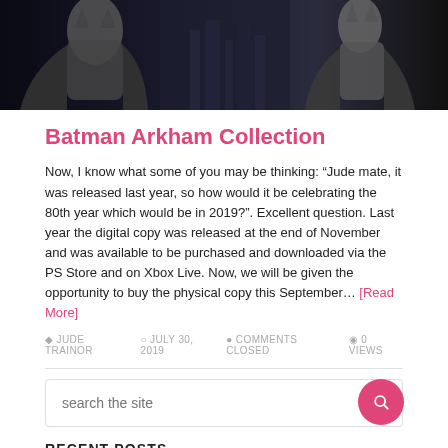[Figure (photo): Batman Arkham Collection promotional image showing Batman characters against a dark cityscape/gothic background]
Batman Arkham Collection
Now, I know what some of you may be thinking: “Jude mate, it was released last year, so how would it be celebrating the 80th year which would be in 2019?”. Excellent question. Last year the digital copy was released at the end of November and was available to be purchased and downloaded via the PS Store and on Xbox Live. Now, we will be given the opportunity to buy the physical copy this September… [Read More]
JUDE TRAINOR   JULY 30, 2019   COMMENTS CLOSED   0 VIEWS
[Figure (other): Search box with pink/magenta search button]
RECENT POSTS